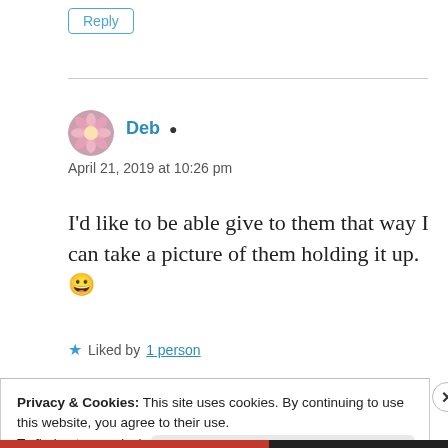Reply
Deb
April 21, 2019 at 10:26 pm
I'd like to be able give to them that way I can take a picture of them holding it up. 😀
Liked by 1 person
Privacy & Cookies: This site uses cookies. By continuing to use this website, you agree to their use.
To find out more, including how to control cookies, see here: Cookie Policy
Close and accept